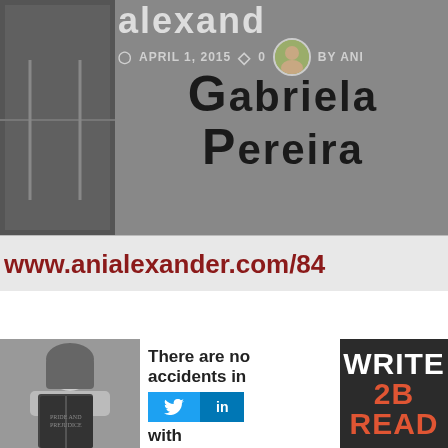Alexandra
APRIL 1, 2015   0   BY ANI
Gabriela Pereira
www.anialexander.com/84
[Figure (photo): Black and white photo of a woman holding a book in front of her face]
There are no accidents in
with
[Figure (infographic): Book cover: WRITE 2B READ in red and white text on dark background]